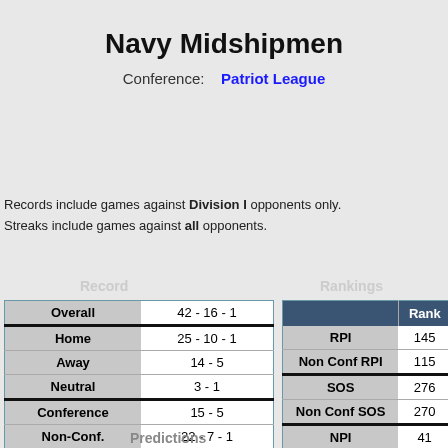Navy Midshipmen
Conference: Patriot League
Records include games against Division I opponents only.
Streaks include games against all opponents.
Record
|  |  |
| --- | --- |
| Overall | 42 - 16 - 1 |
| Home | 25 - 10 - 1 |
| Away | 14 - 5 |
| Neutral | 3 - 1 |
| Conference | 15 - 5 |
| Non-Conf. | 22 - 7 - 1 |
| Post Season | 5 - 4 |
Rankings
|  | Rank |
| --- | --- |
| RPI | 145 |
| Non Conf RPI | 115 |
| SOS | 276 |
| Non Conf SOS | 270 |
| NPI | 41 |
| ELO Chess | 69 |
Predictions